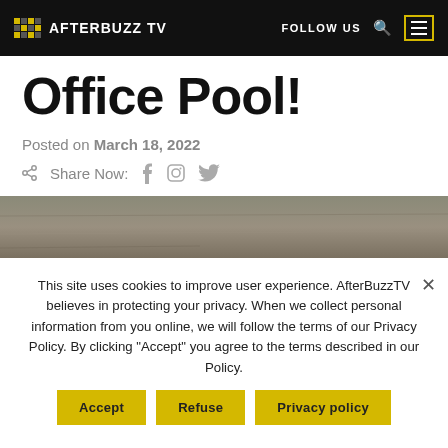AFTERBUZZ TV | FOLLOW US
Office Pool!
Posted on March 18, 2022
Share Now:
[Figure (photo): Landscape photo strip showing sandy/rocky terrain]
This site uses cookies to improve user experience. AfterBuzzTV believes in protecting your privacy. When we collect personal information from you online, we will follow the terms of our Privacy Policy. By clicking "Accept" you agree to the terms described in our Policy.
Accept | Refuse | Privacy policy